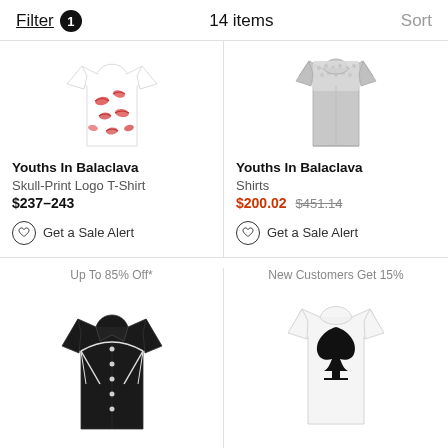Filter 1  14 items  Sort
[Figure (photo): White T-shirt with red lip/kiss print pattern (Youths In Balaclava Skull-Print Logo T-Shirt)]
Youths In Balaclava
Skull-Print Logo T-Shirt
$237–243
Get a Sale Alert
[Figure (photo): Gray/lace long-sleeve shirt (Youths In Balaclava Shirts)]
Youths In Balaclava
Shirts
$200.02 $451.14
Get a Sale Alert
Up To 85% Off*
[Figure (photo): Black button-up long-sleeve shirt with white piping detail (Youths In Balaclava)]
Youths In Balaclava
New Customers Get 15%
[Figure (photo): White T-shirt with large black spade card suit graphic (Youths In Balaclava)]
Youths In Balaclava